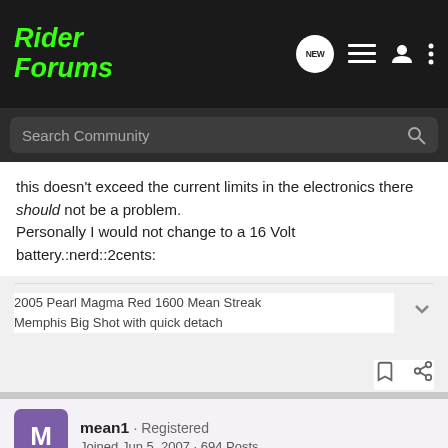RiderForums
this doesn't exceed the current limits in the electronics there should not be a problem.
Personally I would not change to a 16 Volt battery.:nerd::2cents:
2005 Pearl Magma Red 1600 Mean Streak
Memphis Big Shot with quick detach
mean1 · Registered
Joined Jun 5, 2007 · 694 Posts
#3 · Sep 3, 2010
There is a little problem with one of my sheets. As a electrician to...